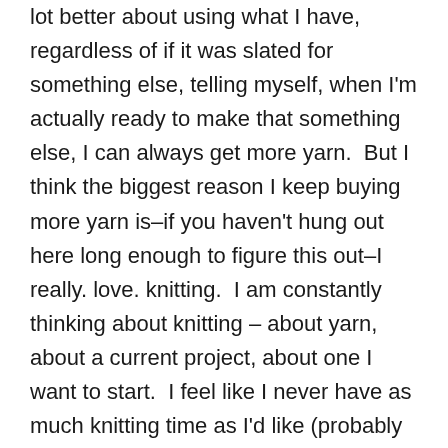lot better about using what I have, regardless of if it was slated for something else, telling myself, when I'm actually ready to make that something else, I can always get more yarn.  But I think the biggest reason I keep buying more yarn is–if you haven't hung out here long enough to figure this out–I really. love. knitting.  I am constantly thinking about knitting – about yarn, about a current project, about one I want to start.  I feel like I never have as much knitting time as I'd like (probably because I would be happy to be constantly knitting …).  For me, planning projects and buying yarn holds with it the promise that, somehow, I will squeeze in that sweater.  That suddenly I'll finish everything I'm working on, start everything I have planned, and make time for